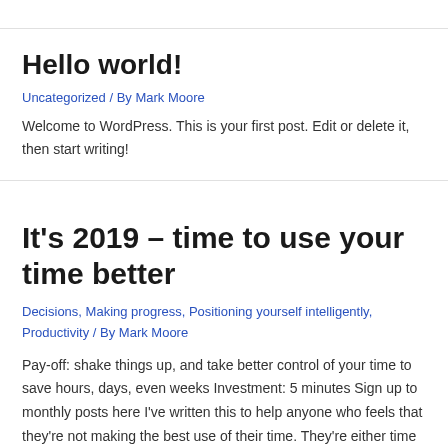Hello world!
Uncategorized / By Mark Moore
Welcome to WordPress. This is your first post. Edit or delete it, then start writing!
It's 2019 – time to use your time better
Decisions, Making progress, Positioning yourself intelligently, Productivity / By Mark Moore
Pay-off: shake things up, and take better control of your time to save hours, days, even weeks Investment: 5 minutes Sign up to monthly posts here I've written this to help anyone who feels that they're not making the best use of their time. They're either time